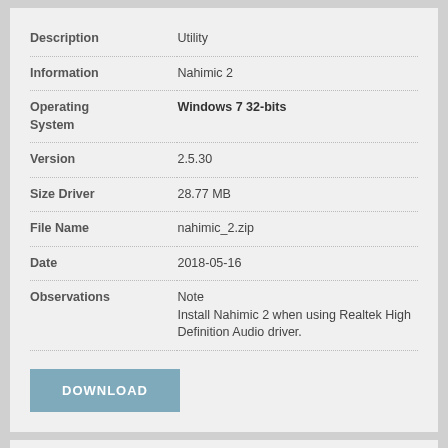| Field | Value |
| --- | --- |
| Description | Utility |
| Information | Nahimic 2 |
| Operating System | Windows 7 32-bits |
| Version | 2.5.30 |
| Size Driver | 28.77 MB |
| File Name | nahimic_2.zip |
| Date | 2018-05-16 |
| Observations | Note
Install Nahimic 2 when using Realtek High Definition Audio driver. |
DOWNLOAD
| Field | Value |
| --- | --- |
| Description | Utility |
| Information | SteelSeries Engine 3... |